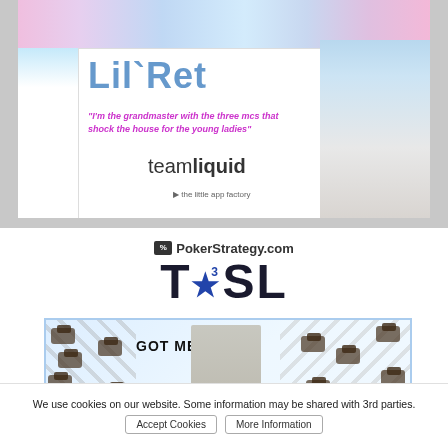[Figure (photo): TeamLiquid Lil'Ret profile banner. Shows a young man in white shirt with arms crossed, with the text 'Lil`Ret' in blue, a purple quote 'I'm the grandmaster with the three mcs that shock the house for the young ladies', and the teamliquid logo. Top strip shows K-pop girls and cartoon ponies.]
[Figure (photo): PokerStrategy.com TxSL (Team StarCraft League) Season 3 banner with a 'GOT MECH!?' sub-banner showing a military-dressed person saluting surrounded by Terran tanks (StarCraft game units).]
We use cookies on our website. Some information may be shared with 3rd parties.
Accept Cookies
More Information